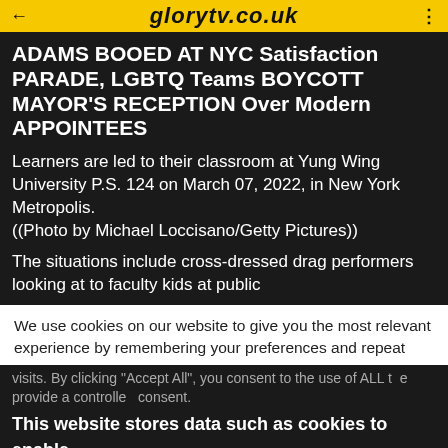glorytv.co.uk
ADAMS BOOED AT NYC Satisfaction PARADE, LGBTQ Teams BOYCOTT MAYOR'S RECEPTION Over Modern APPOINTEES
Learners are led to their classroom at Yung Wing University P.S. 124 on March 07, 2022, in New York Metropolis.
((Photo by Michael Loccisano/Getty Pictures))
The situations include cross-dressed drag performers looking at to faculty kids at public
We use cookies on our website to give you the most relevant experience by remembering your preferences and repeat visits. By clicking "Accept All", you consent to the use of ALL the provide a controlled consent.
This website stores data such as cookies to enable necessary site functionality, including analytics, targeting, and personalization. By remaining on this website you indicate your consent Cookie Policy